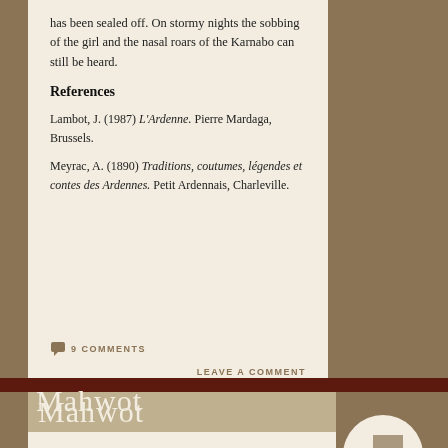has been sealed off. On stormy nights the sobbing of the girl and the nasal roars of the Karnabo can still be heard.
References
Lambot, J. (1987) L'Ardenne. Pierre Mardaga, Brussels.
Meyrac, A. (1890) Traditions, coutumes, légendes et contes des Ardennes. Petit Ardennais, Charleville.
9 COMMENTS
LEAVE A COMMENT
Mahwot
Under the Mahwot Mahwot do